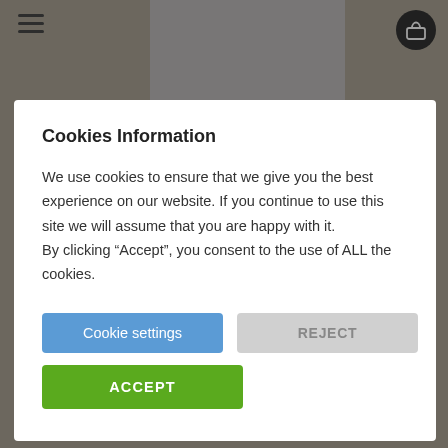[Figure (screenshot): Website background showing navigation bar with hamburger menu icon on left and shopping cart icon on right, gray background with partial product image placeholder]
Cookies Information
We use cookies to ensure that we give you the best experience on our website. If you continue to use this site we will assume that you are happy with it. By clicking “Accept”, you consent to the use of ALL the cookies.
Cookie settings
REJECT
ACCEPT
We are delighted to announce the opening of The Scullery’s 2020 Online Christmas Shop! Normally[...]